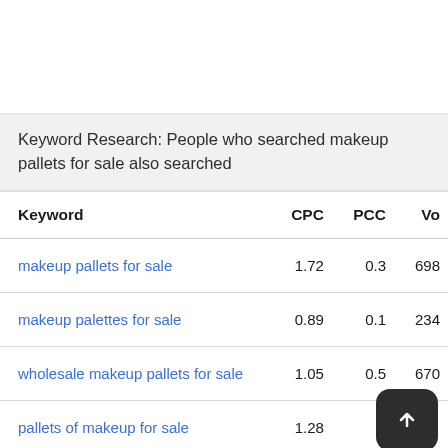Keyword Research: People who searched makeup pallets for sale also searched
| Keyword | CPC | PCC | Vo |
| --- | --- | --- | --- |
| makeup pallets for sale | 1.72 | 0.3 | 698 |
| makeup palettes for sale | 0.89 | 0.1 | 234 |
| wholesale makeup pallets for sale | 1.05 | 0.5 | 670 |
| pallets of makeup for sale | 1.28 | 1 |  |